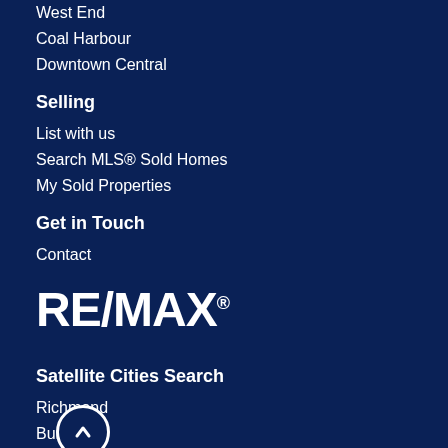West End
Coal Harbour
Downtown Central
Selling
List with us
Search MLS® Sold Homes
My Sold Properties
Get in Touch
Contact
[Figure (logo): RE/MAX logo in white text on dark blue background]
Satellite Cities Search
Richmond
Burnaby